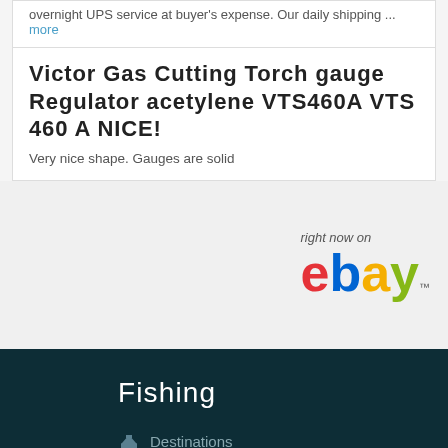overnight UPS service at buyer's expense. Our daily shipping ... more
Victor Gas Cutting Torch gauge Regulator acetylene VTS460A VTS 460 A NICE!
Very nice shape. Gauges are solid
[Figure (logo): eBay logo with 'right now on' text above it]
Fishing
Destinations
River and Lake Reports
Guided Trips